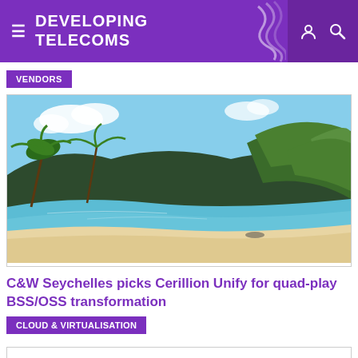Developing Telecoms
VENDORS
[Figure (photo): Tropical beach scene with turquoise water, white sand, palm trees and green hillside vegetation under a blue sky]
C&W Seychelles picks Cerillion Unify for quad-play BSS/OSS transformation
CLOUD & VIRTUALISATION